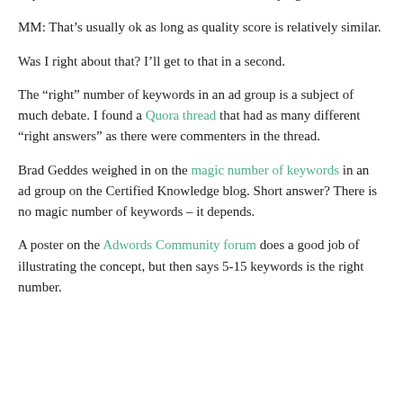impressions/clicks and the other one is extremely tight.
MM: That’s usually ok as long as quality score is relatively similar.
Was I right about that? I’ll get to that in a second.
The “right” number of keywords in an ad group is a subject of much debate. I found a Quora thread that had as many different “right answers” as there were commenters in the thread.
Brad Geddes weighed in on the magic number of keywords in an ad group on the Certified Knowledge blog. Short answer? There is no magic number of keywords – it depends.
A poster on the Adwords Community forum does a good job of illustrating the concept, but then says 5-15 keywords is the right number.